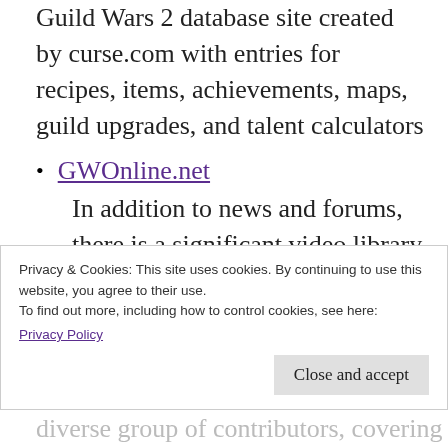Guild Wars 2 database site created by curse.com with entries for recipes, items, achievements, maps, guild upgrades, and talent calculators
GWOnline.net – In addition to news and forums, there is a significant video library fueld by community members' contributions
IGN's Guild Wars 2 Wiki – A nice user-friendly and easy-to-browse framework for a community-sourced wiki,
Privacy & Cookies: This site uses cookies. By continuing to use this website, you agree to their use.
To find out more, including how to control cookies, see here:
Privacy Policy
diverse group of contributors, covering